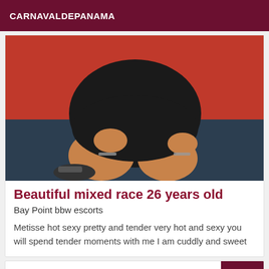CARNAVALDEPANAMA
[Figure (photo): Photo of a person wearing a black dress, crouching or posing, with a red background visible]
Beautiful mixed race 26 years old
Bay Point bbw escorts
Metisse hot sexy pretty and tender very hot and sexy you will spend tender moments with me I am cuddly and sweet
Verified